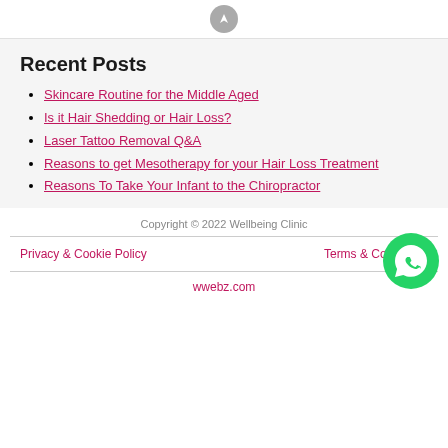Recent Posts
Skincare Routine for the Middle Aged
Is it Hair Shedding or Hair Loss?
Laser Tattoo Removal Q&A
Reasons to get Mesotherapy for your Hair Loss Treatment
Reasons To Take Your Infant to the Chiropractor
Copyright © 2022 Wellbeing Clinic
Privacy & Cookie Policy   Terms & Conditions
wwebz.com